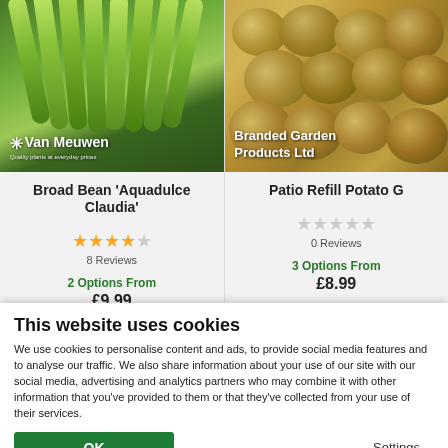[Figure (photo): Close-up photo of green broad bean pods with Van Meuwen logo overlay]
[Figure (photo): Close-up photo of potatoes with Branded Garden Products Ltd overlay]
Broad Bean 'Aquadulce Claudia'
Patio Refill Potato G
8 Reviews
0 Reviews
2 Options From
3 Options From
£9.99
£8.99
This website uses cookies
We use cookies to personalise content and ads, to provide social media features and to analyse our traffic. We also share information about your use of our site with our social media, advertising and analytics partners who may combine it with other information that you've provided to them or that they've collected from your use of their services.
OK
Settings